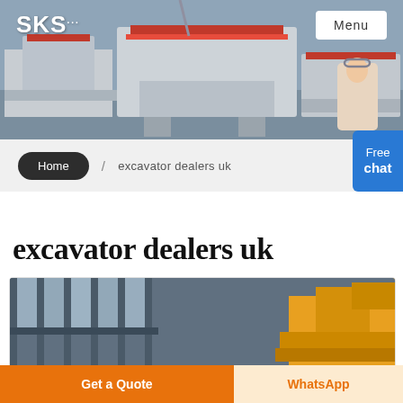[Figure (photo): SKS company banner showing industrial machinery/crushers in a factory setting with logo and Menu button]
SKS ... Menu
Home / excavator dealers uk
excavator dealers uk
[Figure (photo): Photo of industrial machinery/excavator equipment in a factory or warehouse]
Get a Quote    WhatsApp